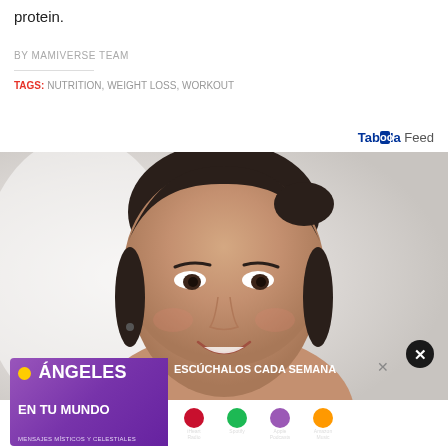protein.
BY MAMIVERSE TEAM
TAGS: NUTRITION, WEIGHT LOSS, WORKOUT
Taboola Feed
[Figure (photo): Portrait photo of a smiling young woman with dark hair pulled back, photographed against a bright blurred background.]
[Figure (infographic): Advertisement banner for 'Ángeles en tu Mundo' podcast with purple gradient background, showing title text and app store icons. A close button (X circle) is visible in the top right.]
Ashbu...